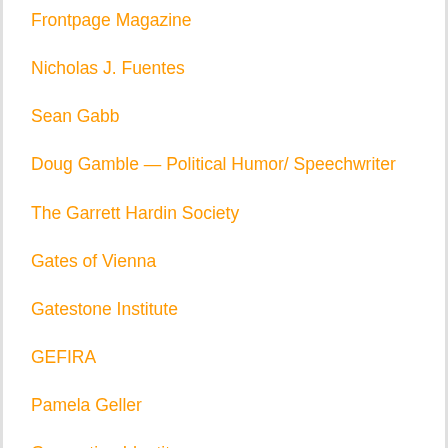Frontpage Magazine
Nicholas J. Fuentes
Sean Gabb
Doug Gamble — Political Humor/ Speechwriter
The Garrett Hardin Society
Gates of Vienna
Gatestone Institute
GEFIRA
Pamela Geller
Generation Identity
Generation Identity (UK and Ireland)
…